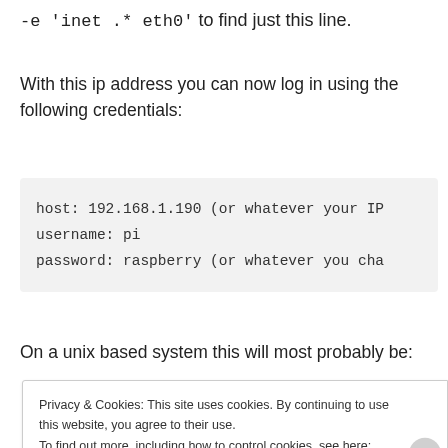-e 'inet .* eth0' to find just this line.
With this ip address you can now log in using the following credentials:
host: 192.168.1.190 (or whatever your IP
username: pi
password: raspberry (or whatever you cha
On a unix based system this will most probably be:
Privacy & Cookies: This site uses cookies. By continuing to use this website, you agree to their use.
To find out more, including how to control cookies, see here: Cookie Policy
Close and accept